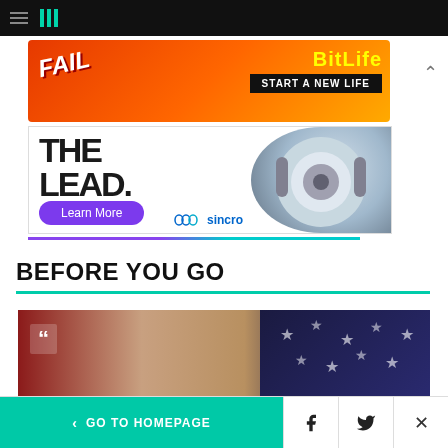HuffPost navigation bar with hamburger menu and logo
[Figure (screenshot): BitLife advertisement banner: orange/red gradient background with FAIL text, character illustration, flames, BitLife logo in yellow, START A NEW LIFE text on black bar]
[Figure (screenshot): Sincro advertisement: THE LEAD. text in bold dark font, Learn More purple button, headphones photo on right, sincro An Ansira Company logo]
BEFORE YOU GO
[Figure (photo): Partial photo showing an elderly person in front of American flag and dark flag with stars, with HuffPost quote mark overlay]
< GO TO HOMEPAGE | Facebook share | Twitter share | Close